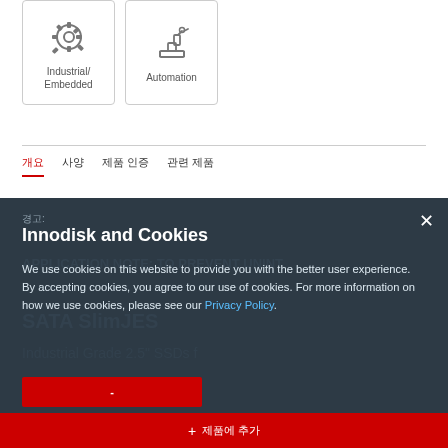[Figure (illustration): Industrial/Embedded icon box with gear icons]
[Figure (illustration): Automation icon box with robotic arm icon]
개요  사양  제품 인증  관련 제품
경고:
Innodisk and Cookies
We use cookies on this website to provide you with the better user experience. By accepting cookies, you agree to our use of cookies. For more information on how we use cookies, please see our Privacy Policy.
+ 제품에 추가